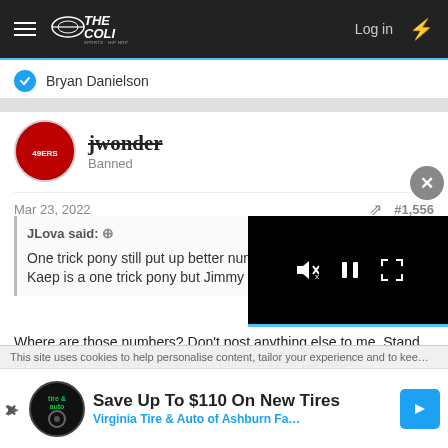THE COLI — Log in
Bryan Danielson
jwonder
Banned
Mar 23, 2022   #1,556
JLova said:
One trick pony still put up better numbers against... Kaep is a one trick pony but Jimmy is so dynami...
Where are those numbers? Don't post anything else to me. Stand by your man and tell me how his numbers are passable.
[Figure (screenshot): Video player overlay with mute, pause, and fullscreen icons on black background]
This site uses cookies to help personalise content, tailor your experience and to kee...
Save Up To $110 On New Tires
Virginia Tire & Auto of Ashburn Fa...